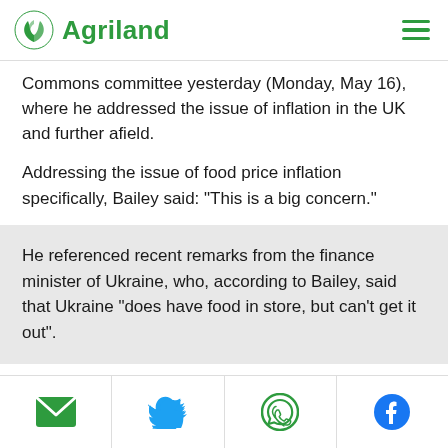Agriland
Commons committee yesterday (Monday, May 16), where he addressed the issue of inflation in the UK and further afield.
Addressing the issue of food price inflation specifically, Bailey said: "This is a big concern."
He referenced recent remarks from the finance minister of Ukraine, who, according to Bailey, said that Ukraine "does have food in store, but can't get it out".
Social share icons: Email, Twitter, WhatsApp, Facebook